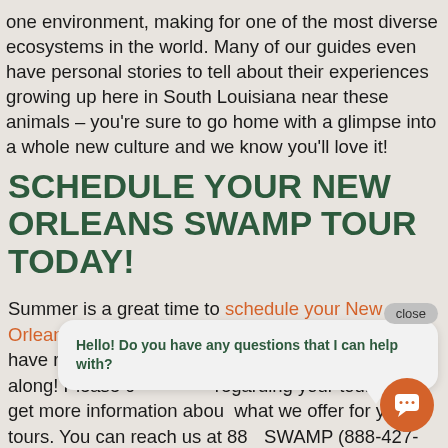one environment, making for one of the most diverse ecosystems in the world. Many of our guides even have personal stories to tell about their experiences growing up here in South Louisiana near these animals – you're sure to go home with a glimpse into a whole new culture and we know you'll love it!
SCHEDULE YOUR NEW ORLEANS SWAMP TOUR TODAY!
Summer is a great time to schedule your New Orleans swamp tour with Airboat Adventures! We have room for the whole family or bring your friends along! Please contact us regarding your tour or to get more information about what we offer for your tours. You can reach us at 888-SWAMP (888-427-9267) or send us an email at info@airboatadventures.com.